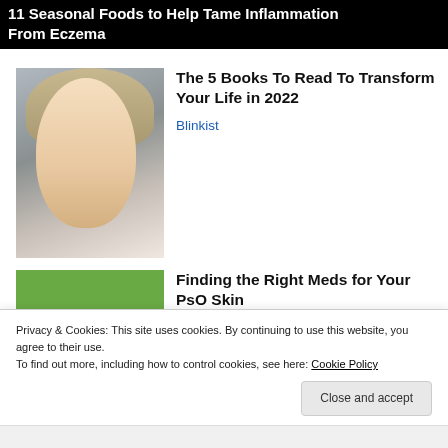11 Seasonal Foods to Help Tame Inflammation From Eczema
[Figure (photo): Portrait of a young blonde woman looking sideways, wearing a white top]
The 5 Books To Read To Transform Your Life in 2022
Blinkist
[Figure (photo): Close-up of a finger receiving an injection against a green background]
Finding the Right Meds for Your PsO Skin
HealthCentral.com
Privacy & Cookies: This site uses cookies. By continuing to use this website, you agree to their use.
To find out more, including how to control cookies, see here: Cookie Policy
Close and accept